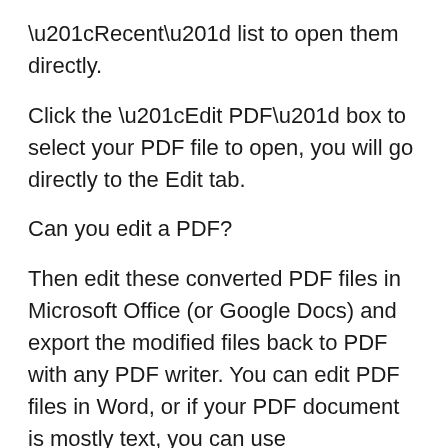“Recent” list to open them directly.
Click the “Edit PDF” box to select your PDF file to open, you will go directly to the Edit tab.
Can you edit a PDF?
Then edit these converted PDF files in Microsoft Office (or Google Docs) and export the modified files back to PDF with any PDF writer. You can edit PDF files in Word, or if your PDF document is mostly text, you can use Stanza’s desktop version to convert that PDF into a Word document.
How to edit PDF files for free?